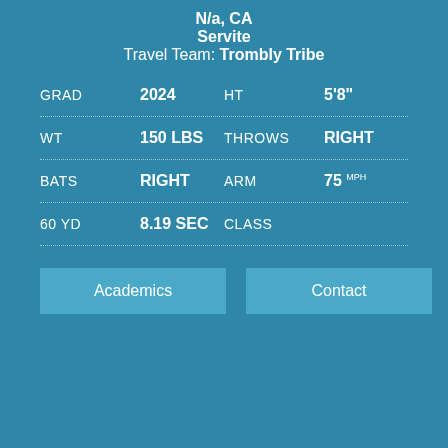N/a, CA
Servite
Travel Team: Trombly Tribe
| GRAD | 2024 | HT | 5'8" |
| WT | 150 LBS | THROWS | RIGHT |
| BATS | RIGHT | ARM | 75 MPH |
| 60 YD | 8.19 SEC | CLASS |  |
Academics
Contact